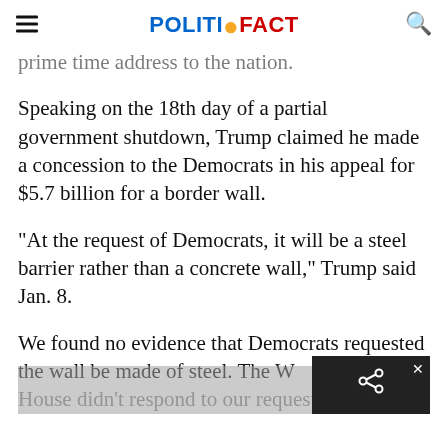POLITIFACT
prime time address to the nation.
Speaking on the 18th day of a partial government shutdown, Trump claimed he made a concession to the Democrats in his appeal for $5.7 billion for a border wall.
"At the request of Democrats, it will be a steel barrier rather than a concrete wall," Trump said Jan. 8.
We found no evidence that Democrats requested the wall be made of steel. The White House didn't respond to our request for...